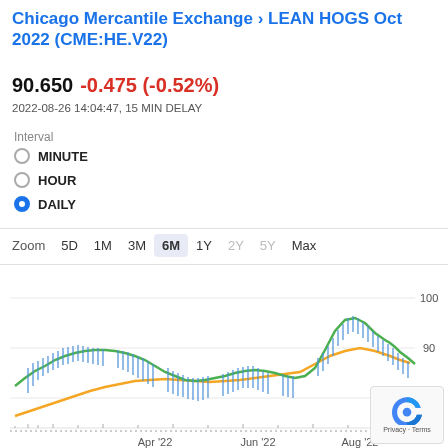Chicago Mercantile Exchange › LEAN HOGS Oct 2022 (CME:HE.V22)
90.650 -0.475 (-0.52%)
2022-08-26 14:04:47, 15 MIN DELAY
Interval
MINUTE
HOUR
DAILY
Zoom  5D  1M  3M  6M  1Y  2Y  5Y  Max
[Figure (line-chart): Candlestick/OHLC chart with two moving average lines (green and orange). X-axis shows Apr '22, Jun '22, Aug '22. Y-axis shows values 80, 90, 100. Price ranges approximately 85-100 over 6 months.]